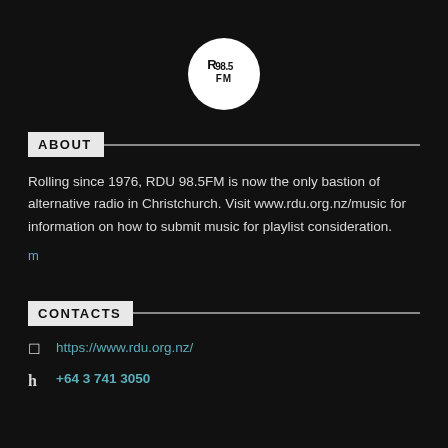[Figure (logo): RDU 98.5FM circular logo in black and white on dark background]
ABOUT
Rolling since 1976, RDU 98.5FM is now the only bastion of alternative radio in Christchurch. Visit www.rdu.org.nz/music for information on how to submit music for playlist consideration.
m
CONTACTS
https://www.rdu.org.nz/
+64 3 741 3050